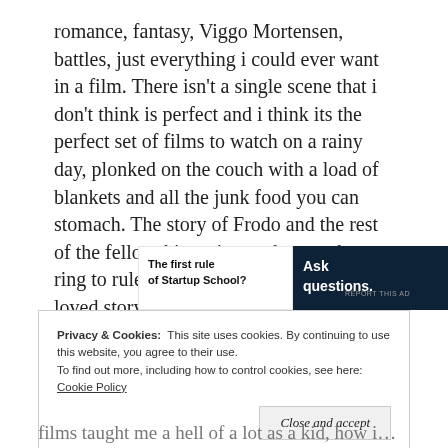romance, fantasy, Viggo Mortensen, battles, just everything i could ever want in a film. There isn't a single scene that i don't think is perfect and i think its the perfect set of films to watch on a rainy day, plonked on the couch with a load of blankets and all the junk food you can stomach. The story of Frodo and the rest of the fellowship trying to destroy the one ring to rule them all is a classic and well loved story that all ages can enjoy and cherish.
[Figure (other): Advertisement banner: left panel shows 'The first rule of Startup School?' text on white background; right panel shows 'Ask questions.' text on dark navy background with WordPress and another logo.]
REPORT THIS AD
Privacy & Cookies:  This site uses cookies. By continuing to use this website, you agree to their use.
To find out more, including how to control cookies, see here: Cookie Policy
Close and accept
films taught me a hell of a lot as a kid, how important it is to be